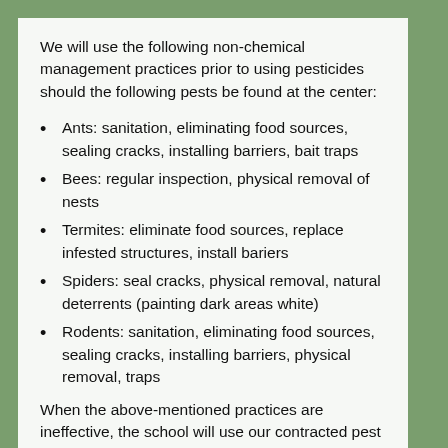We will use the following non-chemical management practices prior to using pesticides should the following pests be found at the center:
Ants: sanitation, eliminating food sources, sealing cracks, installing barriers, bait traps
Bees: regular inspection, physical removal of nests
Termites: eliminate food sources, replace infested structures, install bariers
Spiders: seal cracks, physical removal, natural deterrents (painting dark areas white)
Rodents: sanitation, eliminating food sources, sealing cracks, installing barriers, physical removal, traps
When the above-mentioned practices are ineffective, the school will use our contracted pest control company to use pesticides as necessary.